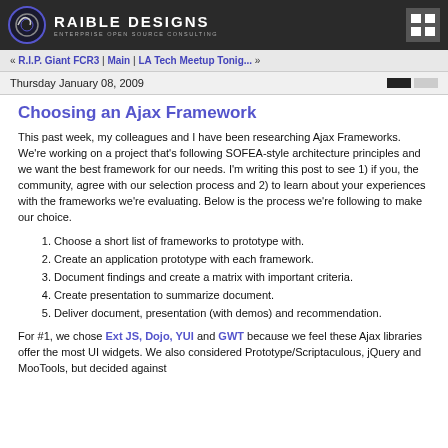RAIBLE DESIGNS — ENTERPRISE OPEN SOURCE CONSULTING
« R.I.P. Giant FCR3 | Main | LA Tech Meetup Tonig... »
Thursday January 08, 2009
Choosing an Ajax Framework
This past week, my colleagues and I have been researching Ajax Frameworks. We're working on a project that's following SOFEA-style architecture principles and we want the best framework for our needs. I'm writing this post to see 1) if you, the community, agree with our selection process and 2) to learn about your experiences with the frameworks we're evaluating. Below is the process we're following to make our choice.
Choose a short list of frameworks to prototype with.
Create an application prototype with each framework.
Document findings and create a matrix with important criteria.
Create presentation to summarize document.
Deliver document, presentation (with demos) and recommendation.
For #1, we chose Ext JS, Dojo, YUI and GWT because we feel these Ajax libraries offer the most UI widgets. We also considered Prototype/Scriptaculous, jQuery and MooTools, but decided against